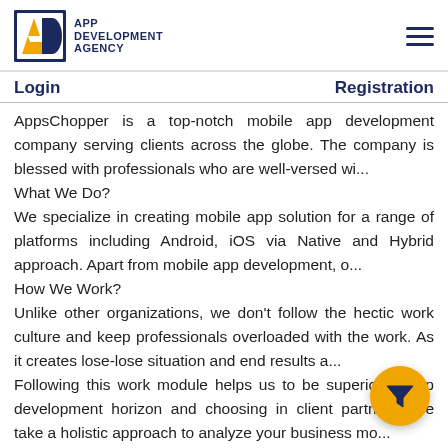[Figure (logo): App Development Agency logo with stylized AD letters in gold/navy and text 'APP DEVELOPMENT AGENCY']
Login    Registration
AppsChopper is a top-notch mobile app development company serving clients across the globe. The company is blessed with professionals who are well-versed wi...
What We Do?
We specialize in creating mobile app solution for a range of platforms including Android, iOS via Native and Hybrid approach. Apart from mobile app development, o...
How We Work?
Unlike other organizations, we don't follow the hectic work culture and keep professionals overloaded with the work. As it creates lose-lose situation and end results a...
Following this work module helps us to be superior in app development horizon and choosing in client partners. We take a holistic approach to analyze your business mo...
Our Work Philosophy
We are professional not only by work, by nature too! We